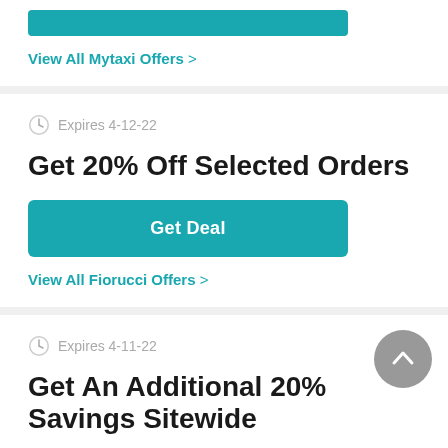View All Mytaxi Offers >
Expires 4-12-22
Get 20% Off Selected Orders
Get Deal
View All Fiorucci Offers >
Expires 4-11-22
Get An Additional 20% Savings Sitewide